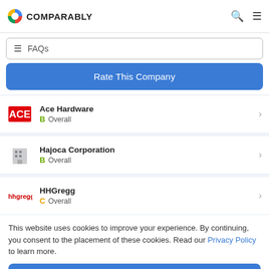COMPARABLY
FAQs
Rate This Company
Ace Hardware — B Overall
Hajoca Corporation — B Overall
HHGregg — C Overall
This website uses cookies to improve your experience. By continuing, you consent to the placement of these cookies. Read our Privacy Policy to learn more.
ACCEPT